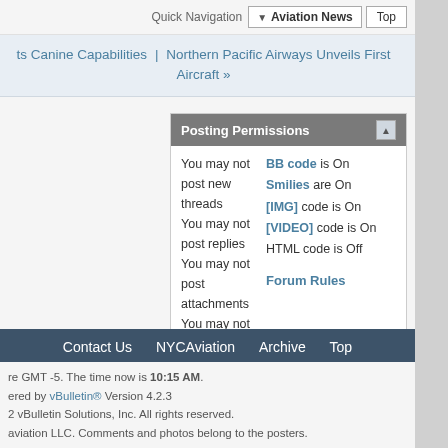Quick Navigation | Aviation News | Top
ts Canine Capabilities | Northern Pacific Airways Unveils First Aircraft »
Posting Permissions
You may not post new threads
You may not post replies
You may not post attachments
You may not edit your posts
BB code is On
Smilies are On
[IMG] code is On
[VIDEO] code is On
HTML code is Off
Forum Rules
Contact Us  NYCAviation  Archive  Top
re GMT -5. The time now is 10:15 AM.
ered by vBulletin® Version 4.2.3
2 vBulletin Solutions, Inc. All rights reserved.
aviation LLC. Comments and photos belong to the posters.